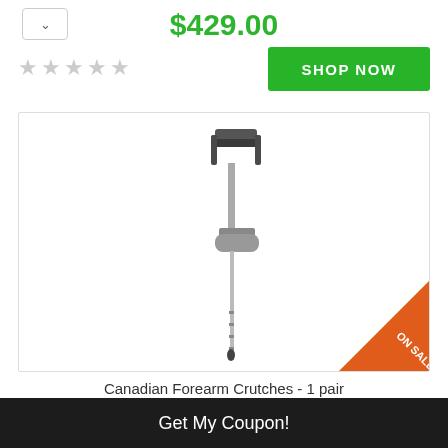$429.00
[Figure (other): Five empty/unfilled star rating icons in grey]
SHOP NOW
[Figure (photo): A single Canadian forearm crutch (elbow crutch) in silver/grey with a black forearm cuff and grey handle, shown on white background with an orange ON SALE badge in the bottom-right corner]
Canadian Forearm Crutches - 1 pair
Get My Coupon!